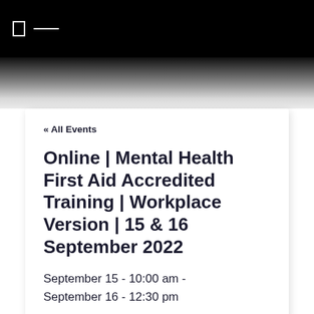« All Events
Online | Mental Health First Aid Accredited Training | Workplace Version | 15 & 16 September 2022
September 15 - 10:00 am - September 16 - 12:30 pm